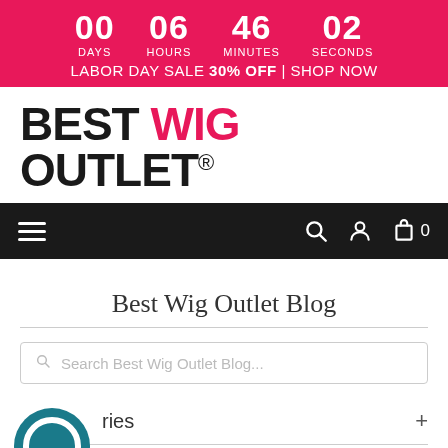00 DAYS 06 HOURS 46 MINUTES 02 SECONDS — LABOR DAY SALE 30% OFF | SHOP NOW
[Figure (logo): Best Wig Outlet logo with BEST in black, WIG in pink, OUTLET in black, registered trademark symbol]
[Figure (screenshot): Black navigation bar with hamburger menu icon on left, search icon, user icon, and cart icon with 0 on right]
Best Wig Outlet Blog
Search Best Wig Outlet Blog...
Categories +
Brands +